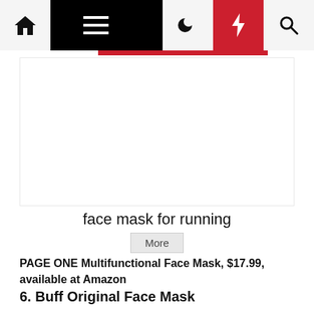Navigation bar with home, menu, moon, bolt, and search icons
[Figure (other): Advertisement placeholder area, blank white space]
face mask for running
More
PAGE ONE Multifunctional Face Mask, $17.99, available at Amazon
6. Buff Original Face Mask